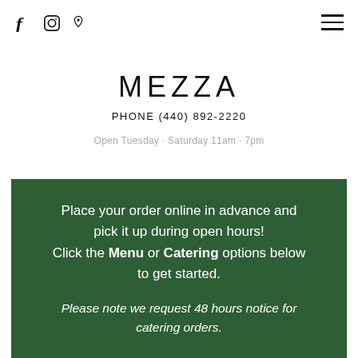Social icons (Facebook, Instagram, Location pin) and hamburger menu
MEZZA
PHONE (440) 892-2220
Open Tuesday · Saturday 11am · 7pm
Place your order online in advance and pick it up during open hours! Click the Menu or Catering options below to get started.

Please note we request 48 hours notice for catering orders.